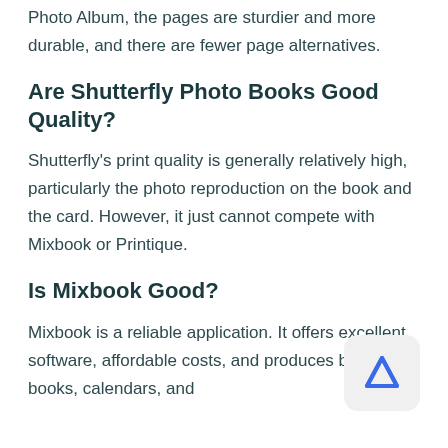Photo Album, the pages are sturdier and more durable, and there are fewer page alternatives.
Are Shutterfly Photo Books Good Quality?
Shutterfly's print quality is generally relatively high, particularly the photo reproduction on the book and the card. However, it just cannot compete with Mixbook or Printique.
Is Mixbook Good?
Mixbook is a reliable application. It offers excellent software, affordable costs, and produces beautiful books, calendars, and